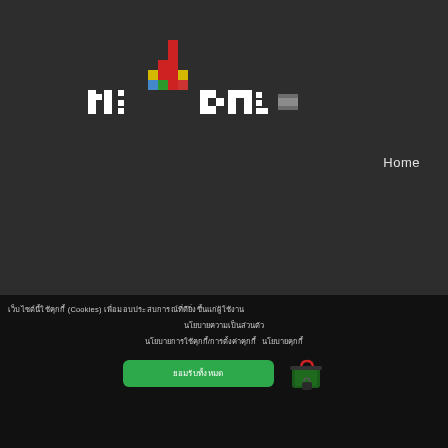[Figure (logo): Pixel art logo with colorful blocky character and white pixel text forming a brand name on dark background]
Home
เว็บไซต์นี้ใช้คุกกี้ (Cookies) เพื่อมอบประสบการณ์ที่ดียิ่งขึ้นแก่ผู้ใช้งาน
นโยบายความเป็นส่วนตัว
นโยบายการใช้คุกกี้/การตั้งค่าคุกกี้ นโยบายคุกกี้
ยอมรับทั้งหมด